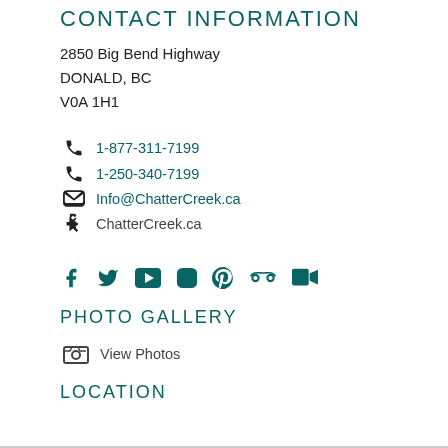Contact Information
2850 Big Bend Highway
DONALD, BC
V0A 1H1
1-877-311-7199
1-250-340-7199
Info@ChatterCreek.ca
ChatterCreek.ca
[Figure (infographic): Social media icons: Facebook, Twitter, YouTube, Instagram, Pinterest, TripAdvisor, Video camera]
Photo Gallery
View Photos
Location